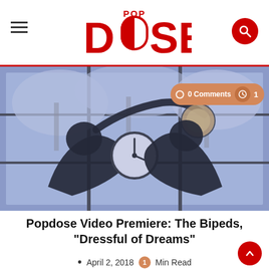Popdose
[Figure (photo): Two silhouetted figures playing banjo against a large window with snow-covered trees outside, with a clock visible between them. Purple-blue toned photo.]
Popdose Video Premiere: The Bipeds, “Dressful of Dreams”
April 2, 2018  1 Min Read